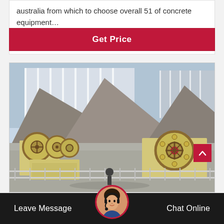australia from which to choose overall 51 of concrete equipment…
Get Price
[Figure (photo): Industrial quarry site showing two large jaw crusher machines with flywheel assemblies in the foreground, and large piles of aggregate/crushed stone in the background. The machines are yellow/cream colored with brown flywheels. The site has metal railings and conveyor infrastructure.]
Leave Message
Chat Online